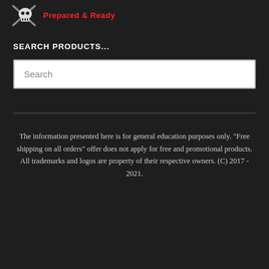[Figure (logo): Skull and crossbones icon with 'Prepared & Ready' tagline in red bold text]
SEARCH PRODUCTS...
Search
The information presented here is for general education purposes only. "Free shipping on all orders" offer does not apply for free and promotional products. All trademarks and logos are property of their respective owners. (C) 2017 - 2021.